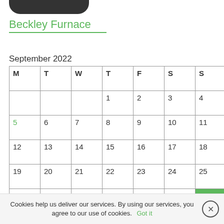[Figure (logo): Dark rounded logo bar at top]
Beckley Furnace
September 2022
| M | T | W | T | F | S | S |
| --- | --- | --- | --- | --- | --- | --- |
|  |  |  | 1 | 2 | 3 | 4 |
| 5 | 6 | 7 | 8 | 9 | 10 | 11 |
| 12 | 13 | 14 | 15 | 16 | 17 | 18 |
| 19 | 20 | 21 | 22 | 23 | 24 | 25 |
| 26 | 27 | 28 | 29 | 30 |  |  |
Cookies help us deliver our services. By using our services, you agree to our use of cookies. Got it